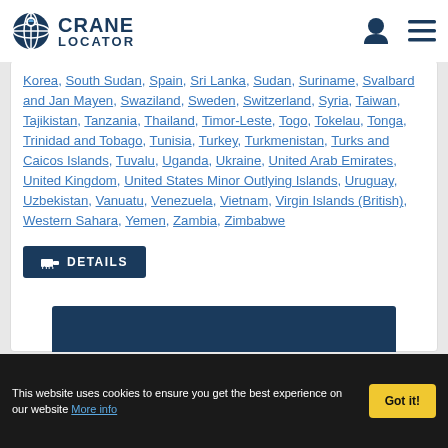CRANE LOCATOR
Korea, South Sudan, Spain, Sri Lanka, Sudan, Suriname, Svalbard and Jan Mayen, Swaziland, Sweden, Switzerland, Syria, Taiwan, Tajikistan, Tanzania, Thailand, Timor-Leste, Togo, Tokelau, Tonga, Trinidad and Tobago, Tunisia, Turkey, Turkmenistan, Turks and Caicos Islands, Tuvalu, Uganda, Ukraine, United Arab Emirates, United Kingdom, United States Minor Outlying Islands, Uruguay, Uzbekistan, Vanuatu, Venezuela, Vietnam, Virgin Islands (British), Western Sahara, Yemen, Zambia, Zimbabwe
DETAILS
This website uses cookies to ensure you get the best experience on our website More info
Got it!